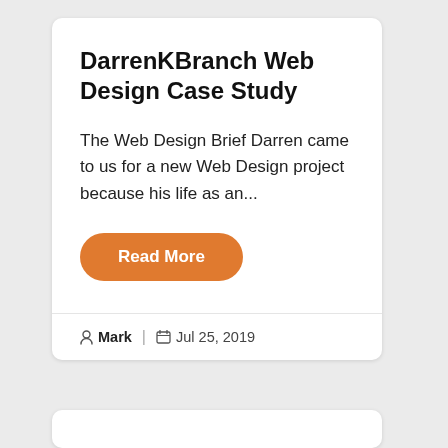DarrenKBranch Web Design Case Study
The Web Design Brief Darren came to us for a new Web Design project because his life as an...
Read More
Mark  |  Jul 25, 2019